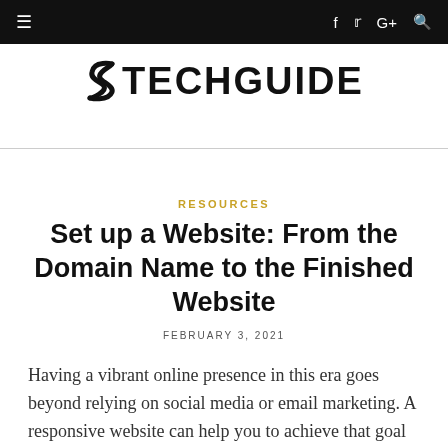≡  f  t  G+  🔍
[Figure (logo): STechGuide logo with stylized S icon and bold text TECHGUIDE]
RESOURCES
Set up a Website: From the Domain Name to the Finished Website
FEBRUARY 3, 2021
Having a vibrant online presence in this era goes beyond relying on social media or email marketing. A responsive website can help you to achieve that goal and more. Chances are your potential